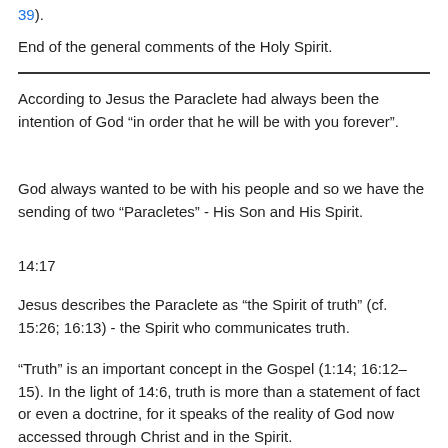39).
End of the general comments of the Holy Spirit.
According to Jesus the Paraclete had always been the intention of God “in order that he will be with you forever”.
God always wanted to be with his people and so we have the sending of two “Paracletes” - His Son and His Spirit.
14:17
Jesus describes the Paraclete as “the Spirit of truth” (cf. 15:26; 16:13) - the Spirit who communicates truth.
“Truth” is an important concept in the Gospel (1:14; 16:12–15). In the light of 14:6, truth is more than a statement of fact or even a doctrine, for it speaks of the reality of God now accessed through Christ and in the Spirit.